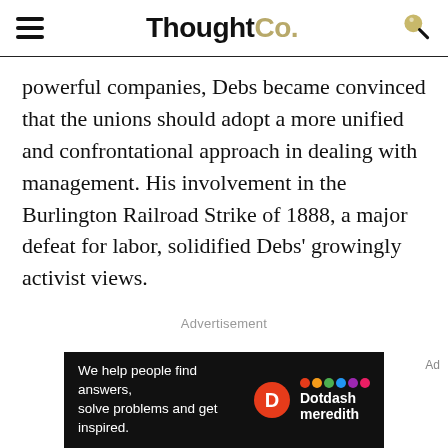ThoughtCo.
powerful companies, Debs became convinced that the unions should adopt a more unified and confrontational approach in dealing with management. His involvement in the Burlington Railroad Strike of 1888, a major defeat for labor, solidified Debs’ growingly activist views.
Advertisement
[Figure (other): Dotdash Meredith advertisement banner: 'We help people find answers, solve problems and get inspired.' with Dotdash Meredith logo]